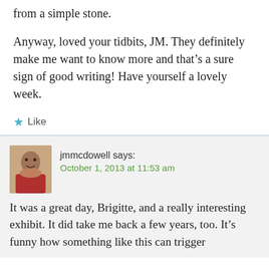from a simple stone.
Anyway, loved your tidbits, JM. They definitely make me want to know more and that's a sure sign of good writing! Have yourself a lovely week.
★ Like
jmmcdowell says:
October 1, 2013 at 11:53 am
It was a great day, Brigitte, and a really interesting exhibit. It did take me back a few years, too. It's funny how something like this can trigger